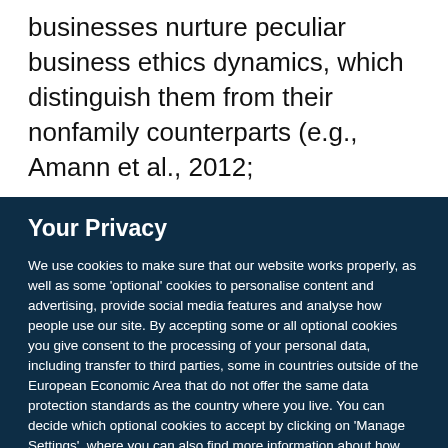businesses nurture peculiar business ethics dynamics, which distinguish them from their nonfamily counterparts (e.g., Amann et al., 2012;
Your Privacy
We use cookies to make sure that our website works properly, as well as some 'optional' cookies to personalise content and advertising, provide social media features and analyse how people use our site. By accepting some or all optional cookies you give consent to the processing of your personal data, including transfer to third parties, some in countries outside of the European Economic Area that do not offer the same data protection standards as the country where you live. You can decide which optional cookies to accept by clicking on 'Manage Settings', where you can also find more information about how your personal data is processed. Further information can be found in our privacy policy.
Accept all cookies
Manage preferences